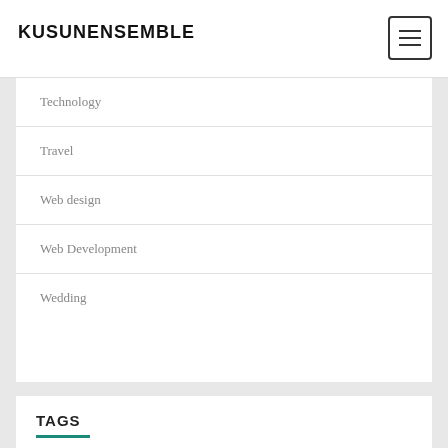KUSUNENSEMBLE
Technology
Travel
Web design
Web Development
Wedding
TAGS
available apartments  bcg attorney search  best cbd for anxiety and sleep  board-certified pediatricians  bodily element  businesses reimbursement  CBD oil cheap  developers bags  circular saws  designer handbags  expensive watches  forward